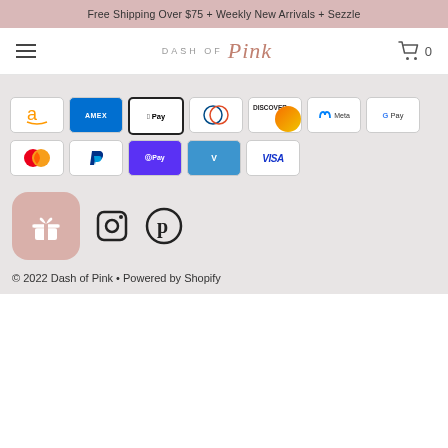Free Shipping Over $75 + Weekly New Arrivals + Sezzle
[Figure (screenshot): Navigation bar with hamburger menu, Dash of Pink logo, and cart icon showing 0]
[Figure (other): Payment method icons: Amazon, Amex, Apple Pay, Diners Club, Discover, Meta, Google Pay, Mastercard, PayPal, Shop Pay, Venmo, Visa]
[Figure (other): Social icons: loyalty/gift app icon, Instagram icon, Pinterest icon]
© 2022 Dash of Pink • Powered by Shopify